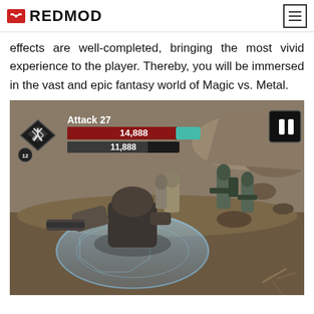REDMOD
effects are well-completed, bringing the most vivid experience to the player. Thereby, you will be immersed in the vast and epic fantasy world of Magic vs. Metal.
[Figure (screenshot): Game screenshot from Magic vs. Metal showing robotic/mechanical characters in combat on a rocky terrain. UI shows Attack 27, health bars with values 14,888 and 11,888, level 12 indicator, and pause button.]